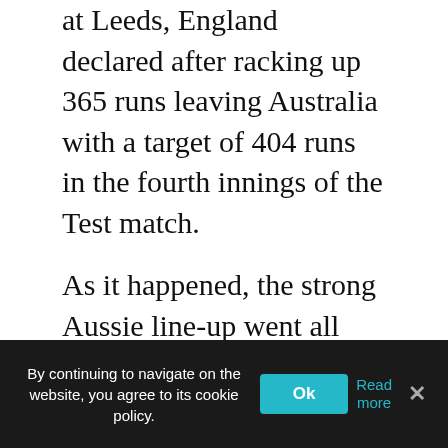at Leeds, England declared after racking up 365 runs leaving Australia with a target of 404 runs in the fourth innings of the Test match.
As it happened, the strong Aussie line-up went all guns blazing as the duo of Sir Donald Bradman and Arthur Morris scored 173 and 182 runs respectively. It was the last nail in the coffin as the home team failed to make enough inroads in the last essay of the Test match. Thus, the visitors handed England a huge defeat as they chased 404 runs with seven wickets to spare. Hence, the match continues to be a talking point even today. Australia's chase in 1948 against England ranks third in the list of the highest successful run chases in the history of Test cricket.
By continuing to navigate on the website, you agree to its cookie policy.